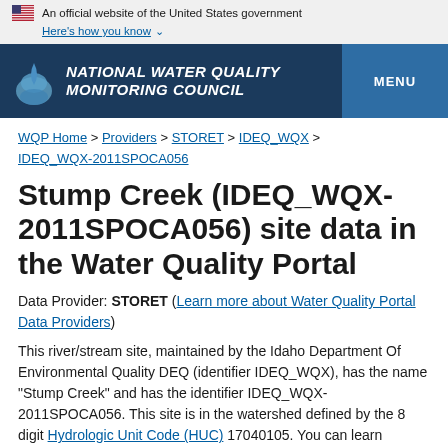An official website of the United States government Here's how you know
NATIONAL WATER QUALITY MONITORING COUNCIL MENU
WQP Home > Providers > STORET > IDEQ_WQX > IDEQ_WQX-2011SPOCA056
Stump Creek (IDEQ_WQX-2011SPOCA056) site data in the Water Quality Portal
Data Provider: STORET (Learn more about Water Quality Portal Data Providers)
This river/stream site, maintained by the Idaho Department Of Environmental Quality DEQ (identifier IDEQ_WQX), has the name "Stump Creek" and has the identifier IDEQ_WQX-2011SPOCA056. This site is in the watershed defined by the 8 digit Hydrologic Unit Code (HUC) 17040105. You can learn